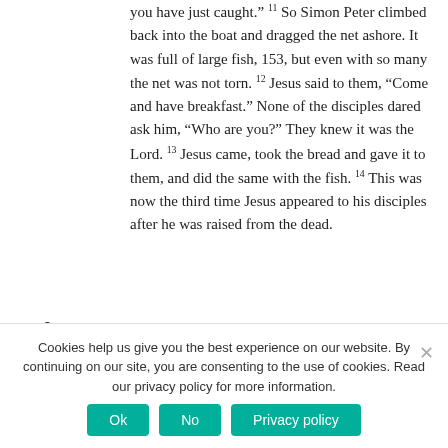you have just caught.” 11 So Simon Peter climbed back into the boat and dragged the net ashore. It was full of large fish, 153, but even with so many the net was not torn. 12 Jesus said to them, “Come and have breakfast.” None of the disciples dared ask him, “Who are you?” They knew it was the Lord. 13 Jesus came, took the bread and gave it to them, and did the same with the fish. 14 This was now the third time Jesus appeared to his disciples after he was raised from the dead.
0 SHARES
[Figure (other): Social sharing sidebar with Facebook (f), Twitter (bird), and Pinterest (p) buttons]
Talking Points: Jesus disciples went fishing
Cookies help us give you the best experience on our website. By continuing on our site, you are consenting to the use of cookies. Read our privacy policy for more information.